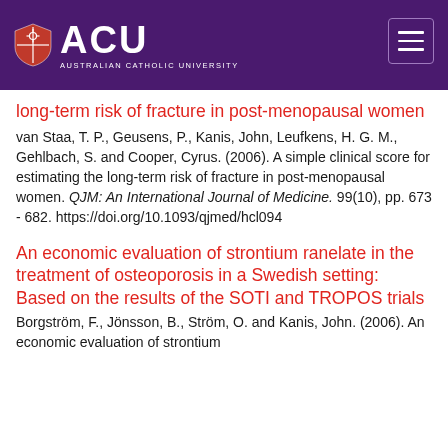[Figure (logo): Australian Catholic University (ACU) logo with shield and text on purple header background, with hamburger menu icon top right]
long-term risk of fracture in post-menopausal women
van Staa, T. P., Geusens, P., Kanis, John, Leufkens, H. G. M., Gehlbach, S. and Cooper, Cyrus. (2006). A simple clinical score for estimating the long-term risk of fracture in post-menopausal women. QJM: An International Journal of Medicine. 99(10), pp. 673 - 682. https://doi.org/10.1093/qjmed/hcl094
An economic evaluation of strontium ranelate in the treatment of osteoporosis in a Swedish setting: Based on the results of the SOTI and TROPOS trials
Borgström, F., Jönsson, B., Ström, O. and Kanis, John. (2006). An economic evaluation of strontium